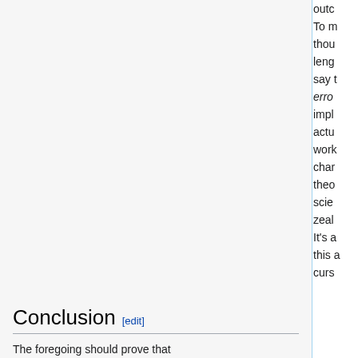outc… To m… thou… leng… say t… error… impli… actu… work… char… theo… scie… zeal… It's a… this a… curs…
Conclusion [edit]
The foregoing should prove that